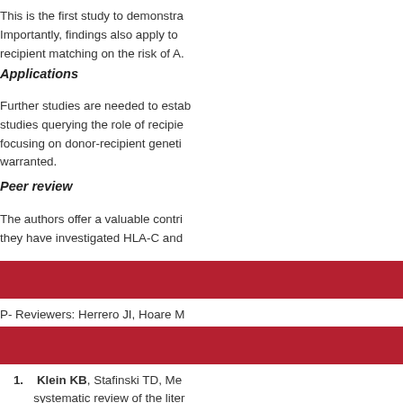This is the first study to demonstra... Importantly, findings also apply to... recipient matching on the risk of A...
Applications
Further studies are needed to estab... studies querying the role of recipie... focusing on donor-recipient geneti... warranted.
Peer review
The authors offer a valuable contri... they have investigated HLA-C and...
[Figure (other): Red horizontal bar/banner]
P- Reviewers: Herrero JI, Hoare M...
[Figure (other): Red horizontal bar/banner]
1. Klein KB, Stafinski TD, Mer... systematic review of the liter...